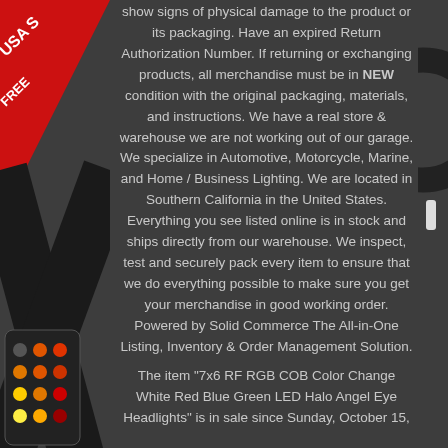[Figure (photo): Left side decorative overlay: USA Seller badge (red triangle with white text 'USA S', 'FREE'), large black X shape, and a remote control device image at bottom left. Right side shows edge of a circular LED headlight product.]
show signs of physical damage to the product or its packaging. Have an expired Return Authorization Number. If returning or exchanging products, all merchandise must be in NEW condition with the original packaging, materials, and instructions. We have a real store & warehouse we are not working out of our garage. We specialize in Automotive, Motorcycle, Marine, and Home / Business Lighting. We are located in Southern California in the United States. Everything you see listed online is in stock and ships directly from our warehouse. We inspect, test and securely pack every item to ensure that we do everything possible to make sure you get your merchandise in good working order. Powered by Solid Commerce The All-in-One Listing, Inventory & Order Management Solution.
The item "7x6 RF RGB COB Color Change White Red Blue Green LED Halo Angel Eye Headlights" is in sale since Sunday, October 15,